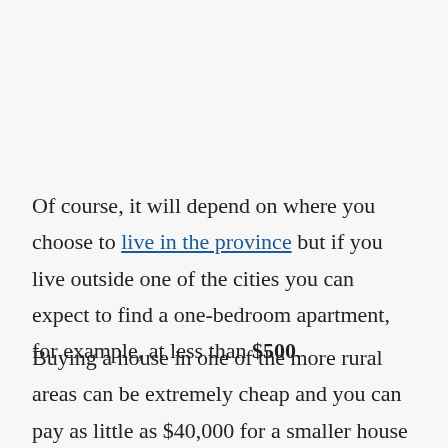Of course, it will depend on where you choose to live in the province but if you live outside one of the cities you can expect to find a one-bedroom apartment, for example, at less than $500.
Buying a house in one of the more rural areas can be extremely cheap and you can pay as little as $40,000 for a smaller house